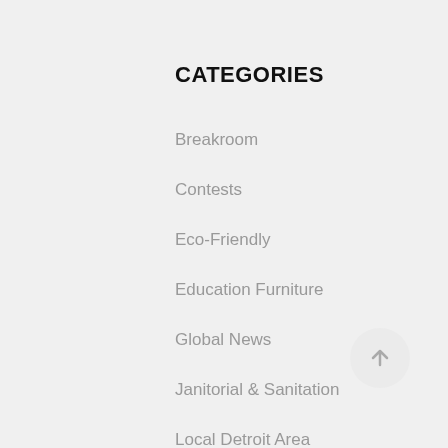CATEGORIES
Breakroom
Contests
Eco-Friendly
Education Furniture
Global News
Janitorial & Sanitation
Local Detroit Area
Misc.
Office Coffee
[Figure (other): Scroll-to-top button: circle with upward arrow]